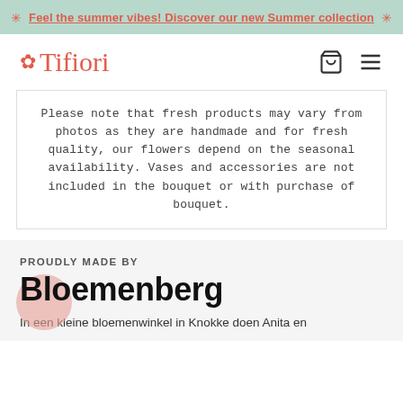Feel the summer vibes! Discover our new Summer collection
[Figure (logo): Tifiori logo with leaf icon in coral/red color, and navigation icons (shopping bag, hamburger menu) on the right]
Please note that fresh products may vary from photos as they are handmade and for fresh quality, our flowers depend on the seasonal availability. Vases and accessories are not included in the bouquet or with purchase of bouquet.
PROUDLY MADE BY
[Figure (logo): Bloemenberg brand logo with pink circle behind the B letter]
In een kleine bloemenwinkel in Knokke doen Anita en